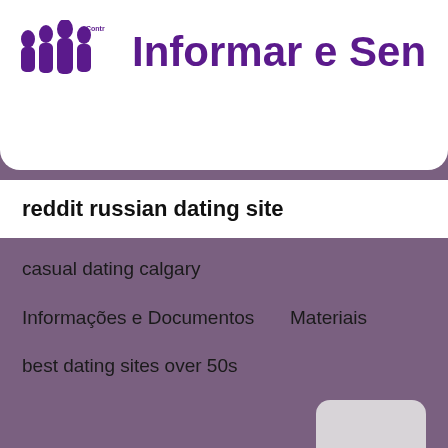[Figure (screenshot): Website header with logo showing stylized figures and text 'Informar e Sen' (partially visible) on white background]
reddit russian dating site
casual dating calgary
Informações e Documentos
Materiais
best dating sites over 50s
[Figure (other): Light grey rounded rectangle button/card in bottom right area]